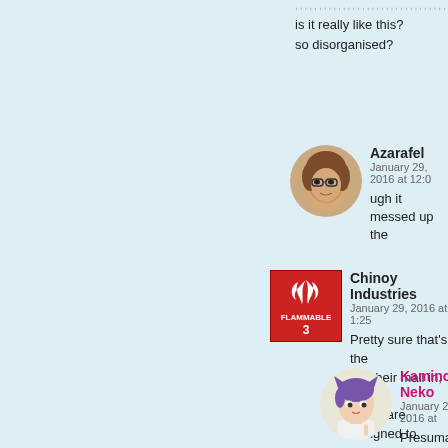is it really like this?
so disorganised?
Azarafel
January 29, 2016 at 12:0...
ugh it messed up the...
Chinoy Industries
January 29, 2016 at 1:25...
Pretty sure that's the ... get their mail in, and t... wings are assigned to... too disorganized abou...
(why anyone puts as irrelevant background...
Kamino Neko
January 29, 2016 at...
Presumably that's... organized, so it's... background.